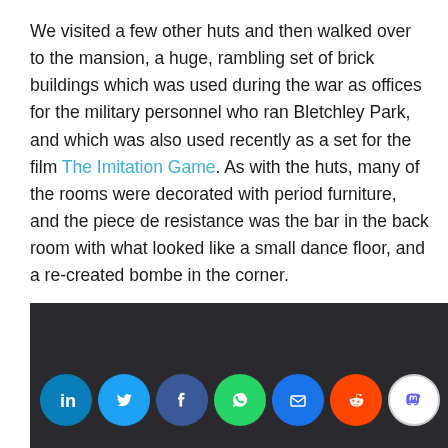We visited a few other huts and then walked over to the mansion, a huge, rambling set of brick buildings which was used during the war as offices for the military personnel who ran Bletchley Park, and which was also used recently as a set for the film The Imitation Game. As with the huts, many of the rooms were decorated with period furniture, and the piece de resistance was the bar in the back room with what looked like a small dance floor, and a re-created bombe in the corner.
[Figure (photo): Dark background image with social media share buttons: LinkedIn, Twitter, Facebook, WhatsApp, Email, Reddit, Mastodon]